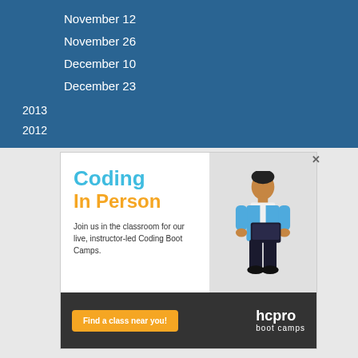November 12
November 26
December 10
December 23
2013
2012
[Figure (illustration): Advertisement for HCPro Boot Camps - Coding In Person. Shows a person holding a tablet, text reading 'Coding In Person - Join us in the classroom for our live, instructor-led Coding Boot Camps.' with a 'Find a class near you!' button and HCPro boot camps logo.]